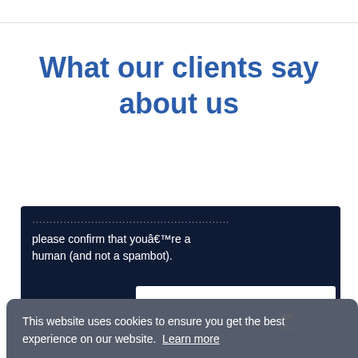What our clients say about us
please confirm that youâ€™re a human (and not a spambot).
This website uses cookies to ensure you get the best experience on our website. Learn more
Got it!